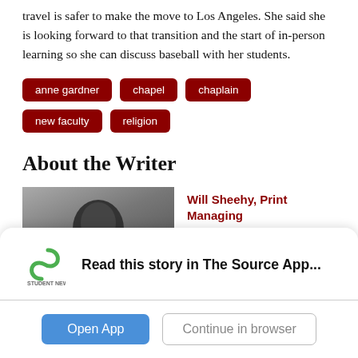travel is safer to make the move to Los Angeles. She said she is looking forward to that transition and the start of in-person learning so she can discuss baseball with her students.
anne gardner
chapel
chaplain
new faculty
religion
About the Writer
[Figure (photo): Photo of Will Sheehy, partially visible, dark background]
Will Sheehy, Print Managing Editor
Read this story in The Source App...
Open App
Continue in browser